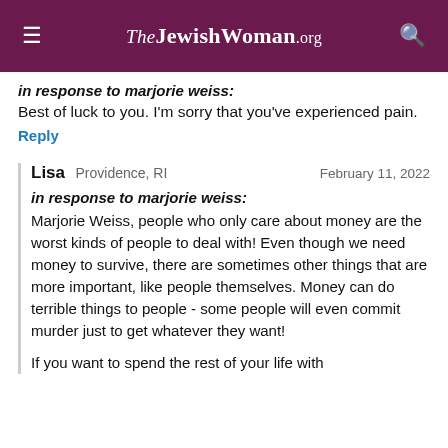TheJewishWoman.org
in response to marjorie weiss:
Best of luck to you. I'm sorry that you've experienced pain.
Reply
Lisa  Providence, RI  February 11, 2022
in response to marjorie weiss:
Marjorie Weiss, people who only care about money are the worst kinds of people to deal with! Even though we need money to survive, there are sometimes other things that are more important, like people themselves. Money can do terrible things to people - some people will even commit murder just to get whatever they want!

If you want to spend the rest of your life with